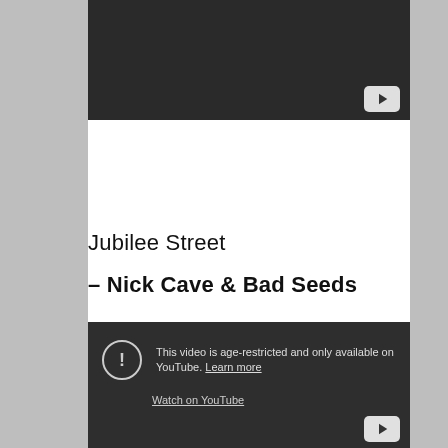[Figure (screenshot): Dark YouTube video player embed (top), showing a dark rectangle with a YouTube play button icon in the bottom right corner.]
Jubilee Street
– Nick Cave & Bad Seeds
[Figure (screenshot): Dark YouTube video embed showing age-restriction message: 'This video is age-restricted and only available on YouTube. Learn more' with a 'Watch on YouTube' link and a YouTube play button icon in the bottom right corner.]